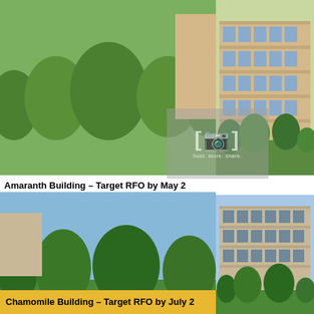[Figure (photo): Amaranth Building rendering - mid-rise residential condominium building with trees in foreground]
Amaranth Building – Target RFO by May 2
[Figure (photo): Chamomile Building rendering - mid-rise residential condominium building with blue sky background]
Chamomile Building – Target RFO by July 2
Â
FENNEL BUILDING SEPTEMBER 2011
HAWTHORN BUILDING NOVEMBER 20
LAVENDER BUILDING FEBRUARY 201